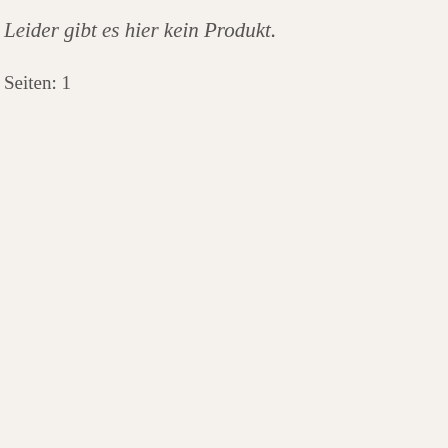Leider gibt es hier kein Produkt.
Seiten: 1